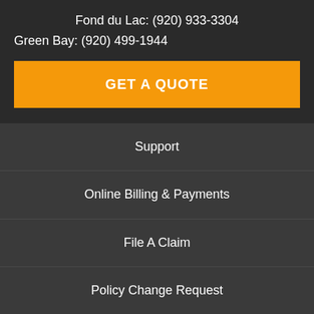Fond du Lac: (920) 933-3304
Green Bay: (920) 499-1944
GET A QUOTE
Support
Online Billing & Payments
File A Claim
Policy Change Request